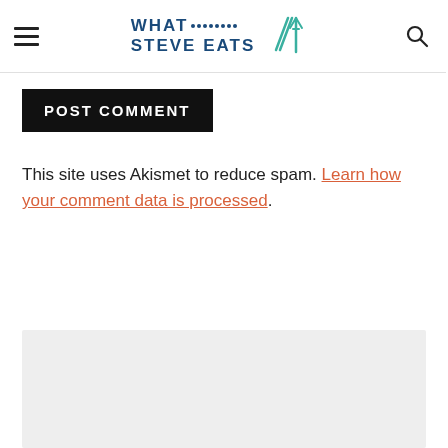WHAT STEVE EATS
POST COMMENT
This site uses Akismet to reduce spam. Learn how your comment data is processed.
[Figure (other): Gray advertisement placeholder box]